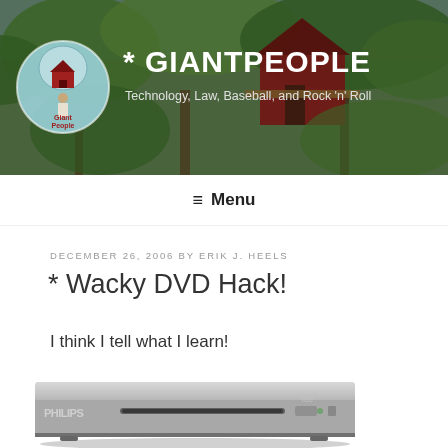[Figure (screenshot): GiantPeople blog header banner with treehouse photo background, circular logo with house/tree illustration on left, site title '* GIANTPEOPLE' and subtitle 'Technology, Law, Baseball, and Rock n Roll']
≡  Menu
DECEMBER 26, 2006 BY ERIK J. HEELS
* Wacky DVD Hack!
I think I tell what I learn!
[Figure (photo): Philips DVD player, silver/grey colored, slim design, front view]